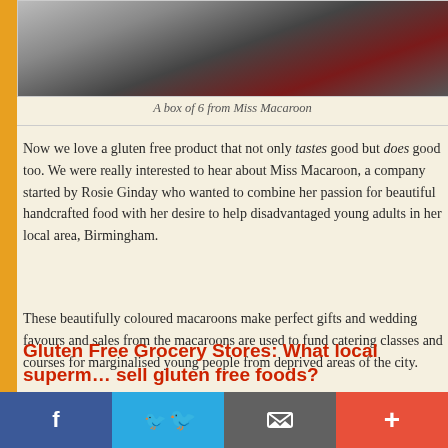[Figure (photo): Partial view of a box of macaroons from Miss Macaroon, showing colorful macarons against a dark background]
A box of 6 from Miss Macaroon
Now we love a gluten free product that not only tastes good but does good too. We were really interested to hear about Miss Macaroon, a company started by Rosie Ginday who wanted to combine her passion for beautiful handcrafted food with her desire to help disadvantaged young adults in her local area, Birmingham.
These beautifully coloured macaroons make perfect gifts and wedding favours and sales from the macaroons are used to fund catering classes and courses for marginalised young people from deprived areas of the city.
Read the rest of this entry »
Leave a Comment | Posted in Gluten Free Products and tagged macaroons, Miss Maca…
Gluten Free Grocery Stores: What local superm… sell gluten free foods?